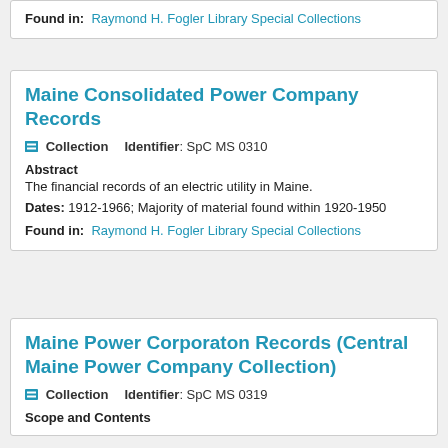Found in: Raymond H. Fogler Library Special Collections
Maine Consolidated Power Company Records
Collection   Identifier: SpC MS 0310
Abstract
The financial records of an electric utility in Maine.
Dates: 1912-1966; Majority of material found within 1920-1950
Found in: Raymond H. Fogler Library Special Collections
Maine Power Corporaton Records (Central Maine Power Company Collection)
Collection   Identifier: SpC MS 0319
Scope and Contents